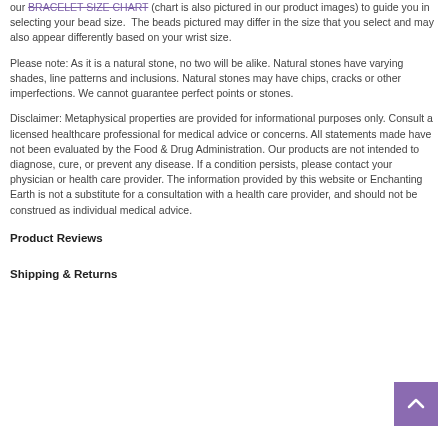our BRACELET SIZE CHART (chart is also pictured in our product images) to guide you in selecting your bead size. The beads pictured may differ in the size that you select and may also appear differently based on your wrist size.
Please note: As it is a natural stone, no two will be alike. Natural stones have varying shades, line patterns and inclusions. Natural stones may have chips, cracks or other imperfections. We cannot guarantee perfect points or stones.
Disclaimer: Metaphysical properties are provided for informational purposes only. Consult a licensed healthcare professional for medical advice or concerns. All statements made have not been evaluated by the Food & Drug Administration. Our products are not intended to diagnose, cure, or prevent any disease. If a condition persists, please contact your physician or health care provider. The information provided by this website or Enchanting Earth is not a substitute for a consultation with a health care provider, and should not be construed as individual medical advice.
Product Reviews
Shipping & Returns